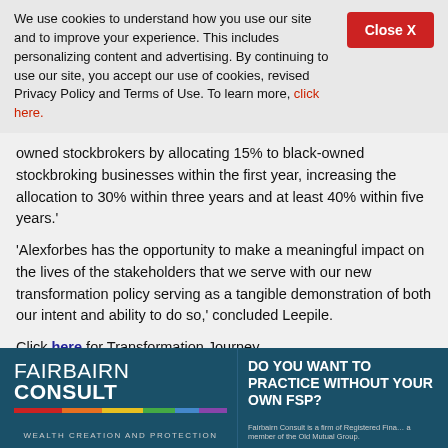We use cookies to understand how you use our site and to improve your experience. This includes personalizing content and advertising. By continuing to use our site, you accept our use of cookies, revised Privacy Policy and Terms of Use. To learn more, click here.
owned stockbrokers by allocating 15% to black-owned stockbroking businesses within the first year, increasing the allocation to 30% within three years and at least 40% within five years.'
'Alexforbes has the opportunity to make a meaningful impact on the lives of the stakeholders that we serve with our new transformation policy serving as a tangible demonstration of both our intent and ability to do so,' concluded Leepile.
Click here for Transformation Journey
[Figure (logo): Fairbairn Consult logo with colored bars and tagline 'Wealth Creation and Protection', and right side with text 'DO YOU WANT TO PRACTICE WITHOUT YOUR OWN FSP?']